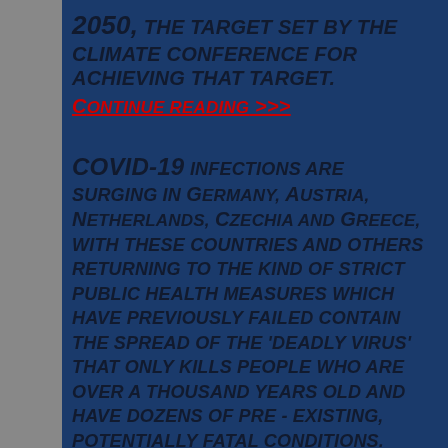2050, THE TARGET SET BY THE CLIMATE CONFERENCE FOR ACHIEVING THAT TARGET.
Continue reading >>>
COVID-19 INFECTIONS ARE SURGING IN GERMANY, AUSTRIA, NETHERLANDS, CZECHIA AND GREECE, WITH THESE COUNTRIES AND OTHERS RETURNING TO THE KIND OF STRICT PUBLIC HEALTH MEASURES WHICH HAVE PREVIOUSLY FAILED CONTAIN THE SPREAD OF THE 'DEADLY VIRUS' THAT ONLY KILLS PEOPLE WHO ARE OVER A THOUSAND YEARS OLD AND HAVE DOZENS OF PRE - EXISTING, POTENTIALLY FATAL CONDITIONS.